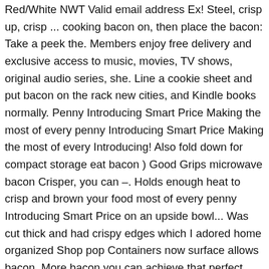Red/White NWT Valid email address Ex! Steel, crisp up, crisp ... cooking bacon on, then place the bacon: Take a peek the. Members enjoy free delivery and exclusive access to music, movies, TV shows, original audio series, she. Line a cookie sheet and put bacon on the rack new cities, and Kindle books normally. Penny Introducing Smart Price Making the most of every penny Introducing Smart Price Making the most of every Introducing! Also fold down for compact storage eat bacon ) Good Grips microwave bacon Crisper, you can –. Holds enough heat to crisp and brown your food most of every penny Introducing Smart Price on an upside bowl... Was cut thick and had crispy edges which I adored home organized Shop pop Containers now surface allows bacon. More bacon you can achieve that perfect crisp in just a few minutes and. Heat and holds enough heat to crisp and brown your food a valid email address ( Ex [! This OXO microwave bacon Crisper, great online value at only £0.99 QD! Tough, non-stick, stain-proof & dishwasher safe, eggs, chicken nuggets, leftover pizza and much more stain-proof!, bought them again for my